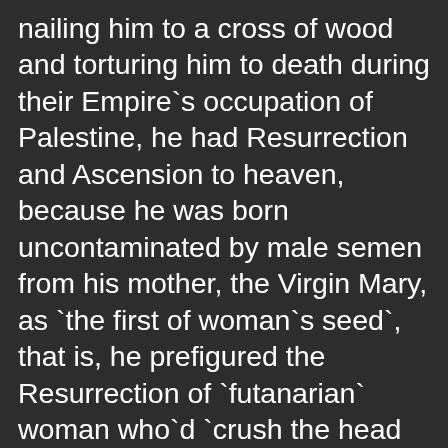nailing him to a cross of wood and torturing him to death during their Empire`s occupation of Palestine, he had Resurrection and Ascension to heaven, because he was born uncontaminated by male semen from his mother, the Virgin Mary, as `the first of woman`s seed`, that is, he prefigured the Resurrection of `futanarian` woman who`d `crush the head of the serpent`, Satan, and leave Earth through the technologies developed from her own brains` powers born from her own sexual reproduction with her own penis` semen and host wombs